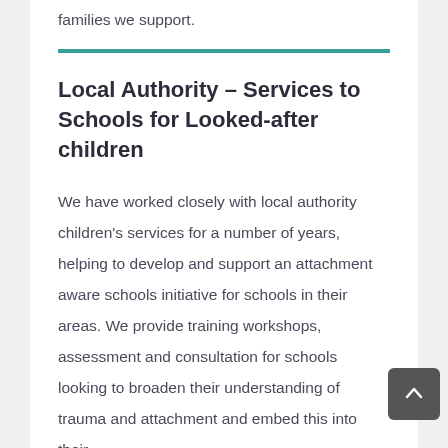families we support.
Local Authority – Services to Schools for Looked-after children
We have worked closely with local authority children's services for a number of years, helping to develop and support an attachment aware schools initiative for schools in their areas. We provide training workshops, assessment and consultation for schools looking to broaden their understanding of trauma and attachment and embed this into their